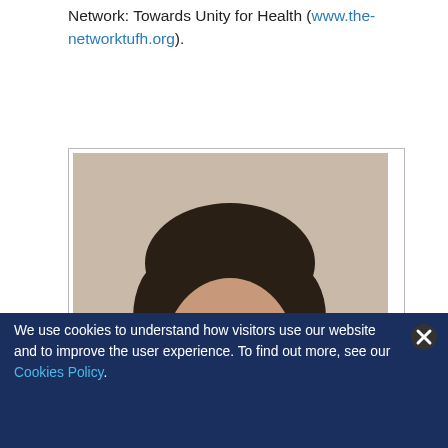Network: Towards Unity for Health (www.the-networktufh.org).
[Figure (photo): Headshot portrait of Jonathan Mant, a middle-aged man with dark hair, wearing a dark jacket, smiling slightly against a neutral background.]
Jonathan Mant is Professor of Primary Care Research at the University of
We use cookies to understand how visitors use our website and to improve the user experience. To find out more, see our Cookies Policy.